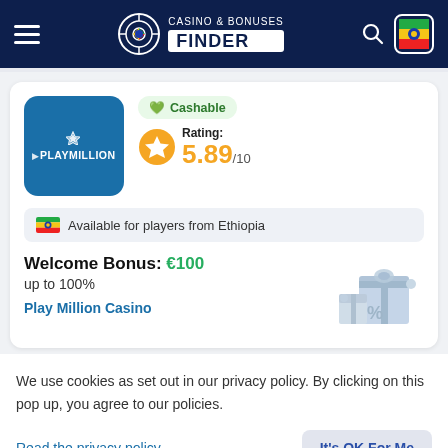CASINO & BONUSES FINDER
[Figure (screenshot): Play Million Casino logo — teal/blue square with PLAYMILLION text in white]
Cashable
Rating: 5.89/10
Available for players from Ethiopia
Welcome Bonus: €100
up to 100%
Play Million Casino
We use cookies as set out in our privacy policy. By clicking on this pop up, you agree to our policies.
Read the privacy policy
It's OK For Me